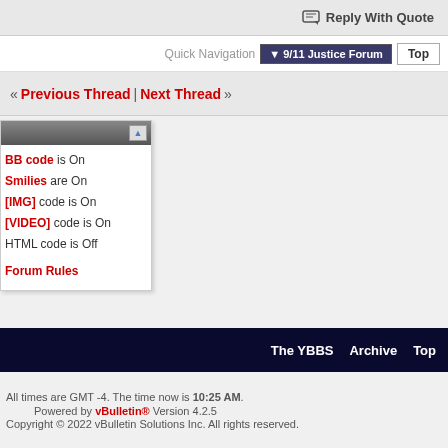Reply With Quote
Quick Navigation  ▼ 9/11 Justice Forum  Top
« Previous Thread | Next Thread »
BB code is On
Smilies are On
[IMG] code is On
[VIDEO] code is On
HTML code is Off
Forum Rules
The YBBS   Archive   Top
All times are GMT -4. The time now is 10:25 AM.
Powered by vBulletin® Version 4.2.5
Copyright © 2022 vBulletin Solutions Inc. All rights reserved.